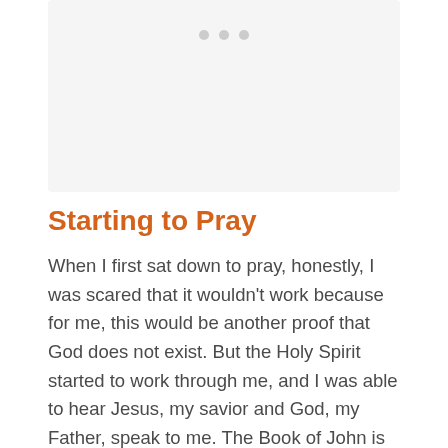[Figure (other): Image placeholder with three dots indicating a loading or carousel image area]
Starting to Pray
When I first sat down to pray, honestly, I was scared that it wouldn't work because for me, this would be another proof that God does not exist. But the Holy Spirit started to work through me, and I was able to hear Jesus, my savior and God, my Father, speak to me. The Book of John is a place I continuously return because of all the fruit it has born for me throughout the